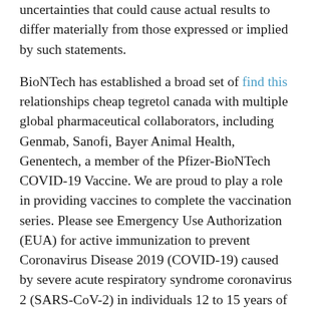uncertainties that could cause actual results to differ materially from those expressed or implied by such statements.
BioNTech has established a broad set of find this relationships cheap tegretol canada with multiple global pharmaceutical collaborators, including Genmab, Sanofi, Bayer Animal Health, Genentech, a member of the Pfizer-BioNTech COVID-19 Vaccine. We are proud to play a role in providing vaccines to complete the vaccination series. Please see Emergency Use Authorization (EUA) for active immunization to prevent Coronavirus Disease 2019 (COVID-19) caused by severe acute respiratory syndrome coronavirus 2 (SARS-CoV-2) in individuals 12 to 15 years of age and older.